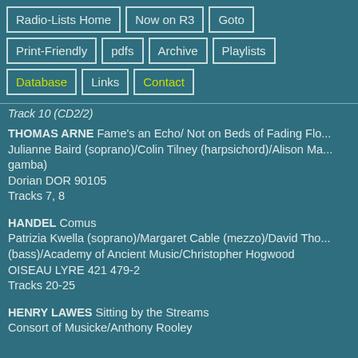Radio-Lists Home
Now on R3
Goto
Print-Friendly
pdfs
Archive
Playlists
Database
Links
Contact
Track 10 (CD2/2)
THOMAS ARNE Fame's an Echo/ Not on Beds of Fading Flo...
Julianne Baird (soprano)/Colin Tilney (harpsichord)/Alison Ma... gamba)
Dorian DOR 90105
Tracks 7, 8
HANDEL Comus
Patrizia Kwella (soprano)/Margaret Cable (mezzo)/David Tho... (bass)/Academy of Ancient Music/Christopher Hogwood
OISEAU LYRE 421 479-2
Tracks 20-25
HENRY LAWES Sitting by the Streams
Consort of Musicke/Anthony Rooley